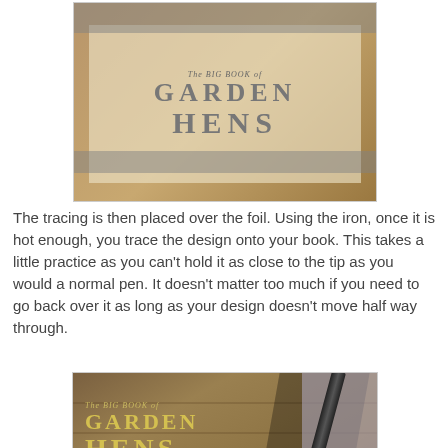[Figure (photo): Photo of a tracing paper with 'The Big Book of Garden Hens' text placed over foil on a wooden surface, with tape strips]
The tracing is then placed over the foil.  Using the iron, once it is hot enough, you trace the design onto your book.  This takes a little practice as you can't hold it as close to the tip as you would a normal pen.  It doesn't matter too much if you need to go back over it as long as your design doesn't move half way through.
[Figure (photo): Photo showing the foil design being traced onto a book cover with a pen tool, showing 'The Big Book of Garden Hens' text embossed in gold on the book cover]